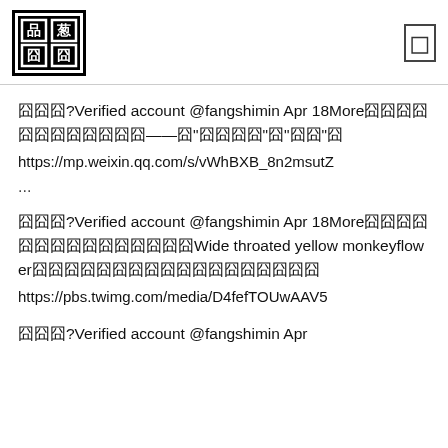[Figure (logo): 品葱 logo — stylized Chinese characters in black and white square block design]
囧囧囧?Verified account @fangshimin Apr 18More囧囧囧囧囧囧囧囧囧囧囧囧——囧"囧囧囧囧"囧"囧囧"囧
https://mp.weixin.qq.com/s/vWhBXB_8n2msutZ
...
囧囧囧?Verified account @fangshimin Apr 18More囧囧囧囧囧囧囧囧囧囧囧囧囧囧囧Wide throated yellow monkeyflower囧囧囧囧囧囧囧囧囧囧囧囧囧囧囧囧囧囧
https://pbs.twimg.com/media/D4fefTOUwAAV5
囧囧囧?Verified account @fangshimin Apr